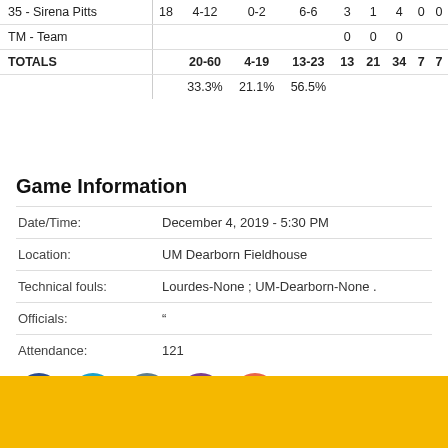| Player | Min | FG | 3PT | FT | OR | DR | Tot | Ast | Blk |
| --- | --- | --- | --- | --- | --- | --- | --- | --- | --- |
| 35 - Sirena Pitts | 18 | 4-12 | 0-2 | 6-6 | 3 | 1 | 4 | 0 | 0 |
| TM - Team |  |  |  |  | 0 | 0 | 0 |  |  |
| TOTALS |  | 20-60 | 4-19 | 13-23 | 13 | 21 | 34 | 7 | 7 |
|  |  | 33.3% | 21.1% | 56.5% |  |  |  |  |  |
Game Information
| Field | Value |
| --- | --- |
| Date/Time: | December 4, 2019 - 5:30 PM |
| Location: | UM Dearborn Fieldhouse |
| Technical fouls: | Lourdes-None ; UM-Dearborn-None . |
| Officials: | " |
| Attendance: | 121 |
[Figure (infographic): Social media share buttons: Facebook (blue), Twitter (light blue), Email (gray), Print (purple), Add/Plus (orange-red)]